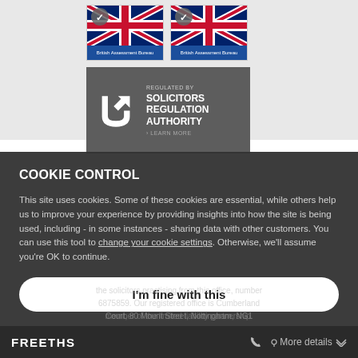[Figure (logo): Two British Assessment Bureau certification badges with union jack flags and checkmarks]
[Figure (logo): Regulated by Solicitors Regulation Authority badge - gray background with SRA logo and text]
COOKIE CONTROL
This site uses cookies. Some of these cookies are essential, while others help us to improve your experience by providing insights into how the site is being used, including - in some instances - sharing data with other customers. You can use this tool to change your cookie settings. Otherwise, we'll assume you're OK to continue.
I'm fine with this
FREETHS  More details